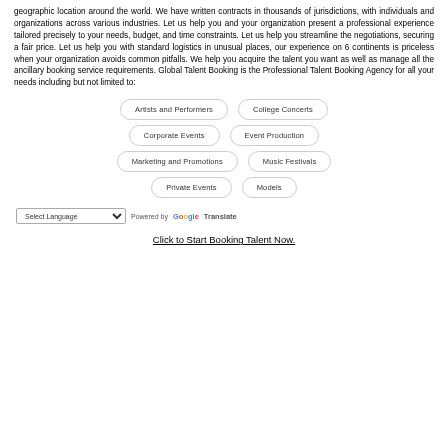geographic location around the world. We have written contracts in thousands of jurisdictions, with individuals and organizations across various industries. Let us help you and your organization present a professional experience tailored precisely to your needs, budget, and time constraints. Let us help you streamline the negotiations, securing a fair price. Let us help you with standard logistics in unusual places, our experience on 6 continents is priceless when your organization avoids common pitfalls. We help you acquire the talent you want as well as manage all the ancillary booking service requirements. Global Talent Booking is the Professional Talent Booking Agency for all your needs including but not limited to:
Artists and Performers
College Concerts
Corporate Events
Event Production
Marketing and Promotions
Music Festivals
Private Events
Models
Select Language — Powered by Google Translate
Click to Start Booking Talent Now.